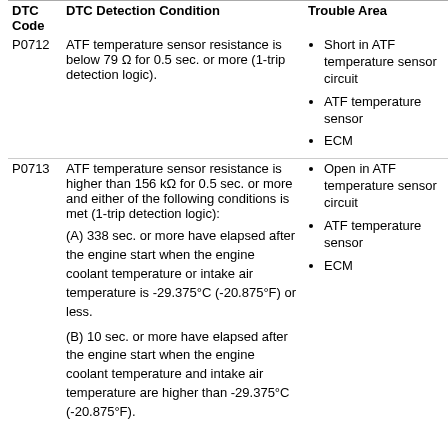| DTC Code | DTC Detection Condition | Trouble Area |
| --- | --- | --- |
| P0712 | ATF temperature sensor resistance is below 79 Ω for 0.5 sec. or more (1-trip detection logic). | Short in ATF temperature sensor circuit
ATF temperature sensor
ECM |
| P0713 | ATF temperature sensor resistance is higher than 156 kΩ for 0.5 sec. or more and either of the following conditions is met (1-trip detection logic):
(A) 338 sec. or more have elapsed after the engine start when the engine coolant temperature or intake air temperature is -29.375°C (-20.875°F) or less.
(B) 10 sec. or more have elapsed after the engine start when the engine coolant temperature and intake air temperature are higher than -29.375°C (-20.875°F). | Open in ATF temperature sensor circuit
ATF temperature sensor
ECM |